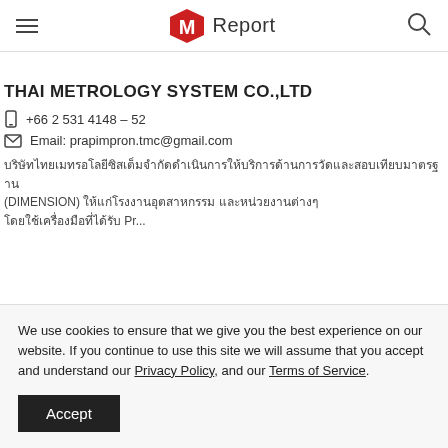M Report
THAI METROLOGY SYSTEM CO.,LTD
☎ +66 2 531 4148 – 52
✉ Email: prapimpron.tmc@gmail.com
Thai text description (DIMENSION) ... Pr...
We use cookies to ensure that we give you the best experience on our website. If you continue to use this site we will assume that you accept and understand our Privacy Policy, and our Terms of Service. Accept